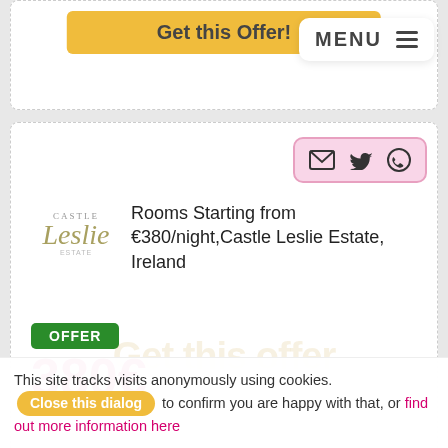[Figure (screenshot): Top portion of a deal/offer card with yellow 'Get this Offer!' button partially visible]
[Figure (screenshot): MENU hamburger navigation overlay in white rounded box]
Rooms Starting from €380/night,Castle Leslie Estate, Ireland
OFFER
380€
Get this Offer!
More details ▾
Romantic Breaks- Rooms starting from €300, Castle Leslie Estate, UK
OFFER
This site tracks visits anonymously using cookies. Close this dialog to confirm you are happy with that, or find out more information here